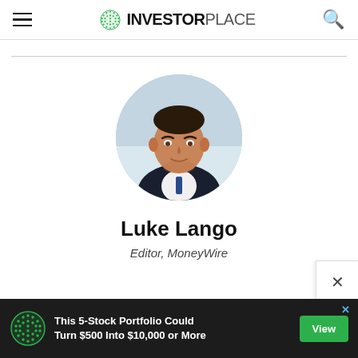InvestorPlace
[Figure (photo): Circular profile photo of Luke Lango, a young man in a dark suit with a blue tie, professional headshot with blurred background]
Luke Lango
Editor, MoneyWire
[Figure (infographic): Advertisement banner: 'This 5-Stock Portfolio Could Turn $500 Into $10,000 or More' with a View button]